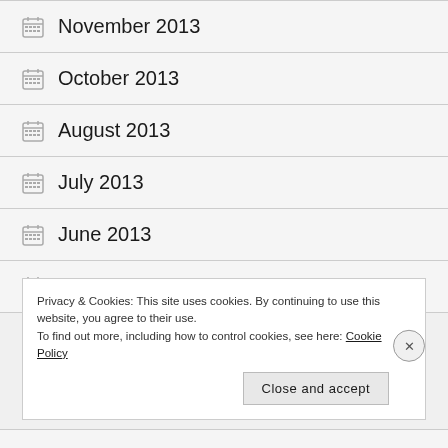November 2013
October 2013
August 2013
July 2013
June 2013
May 2013
Privacy & Cookies: This site uses cookies. By continuing to use this website, you agree to their use. To find out more, including how to control cookies, see here: Cookie Policy
Close and accept